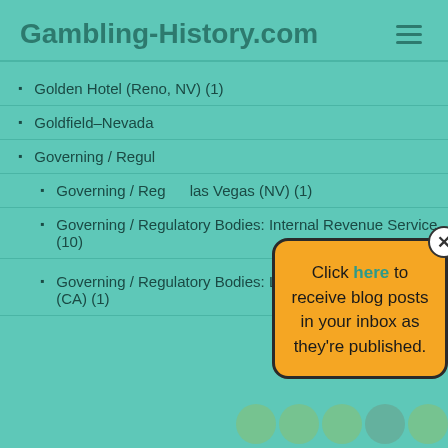Gambling-History.com
Golden Hotel (Reno, NV) (1)
Goldfield–Nevada
Governing / Regulatory Bodies:
Governing / Regulatory Bodies: Las Vegas (NV) (1)
Governing / Regulatory Bodies: Internal Revenue Service (10)
Governing / Regulatory Bodies: Los Angeles City Council (CA) (1)
[Figure (infographic): Popup overlay with yellow background saying 'Click here to receive blog posts in your inbox as they're published.' with a close (X) button and social media icons at the bottom.]